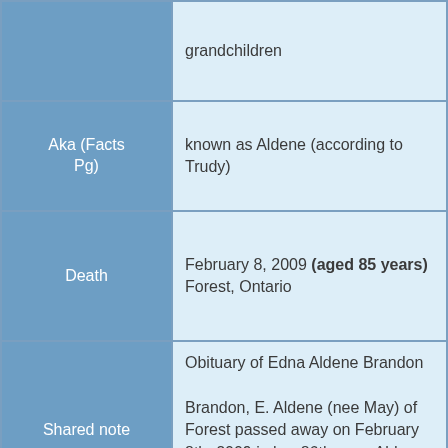|  | grandchildren |
| Aka (Facts Pg) | known as Aldene (according to Trudy) |
| Death | February 8, 2009 (aged 85 years)
Forest, Ontario |
| Shared note | Obituary of Edna Aldene Brandon

Brandon, E. Aldene (nee May) of Forest passed away on February 8th, 2009 in her 86th year. Aldene is predeceased by father, mother and |